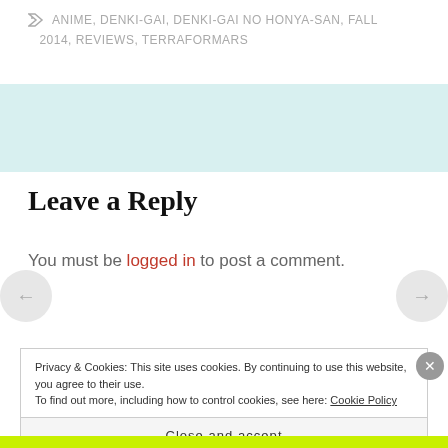ANIME, DENKI-GAI, DENKI-GAI NO HONYA-SAN, FALL 2014, REVIEWS, TERRAFORMARS
Leave a Reply
You must be logged in to post a comment.
Privacy & Cookies: This site uses cookies. By continuing to use this website, you agree to their use. To find out more, including how to control cookies, see here: Cookie Policy
Close and accept